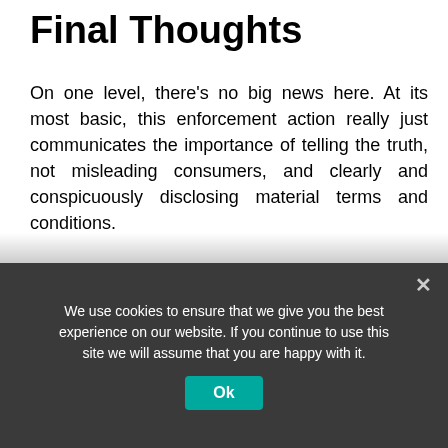Final Thoughts
On one level, there’s no big news here. At its most basic, this enforcement action really just communicates the importance of telling the truth, not misleading consumers, and clearly and conspicuously disclosing material terms and conditions.
The fact that the NYAG uses the investigation as a “dark patterns” case is significant, though. While the dark patterns allegations here are largely based on the use of false
We use cookies to ensure that we give you the best experience on our website. If you continue to use this site we will assume that you are happy with it.